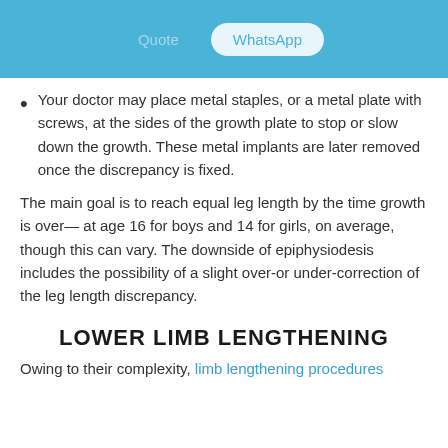Quote  WhatsApp
Your doctor may place metal staples, or a metal plate with screws, at the sides of the growth plate to stop or slow down the growth. These metal implants are later removed once the discrepancy is fixed.
The main goal is to reach equal leg length by the time growth is over— at age 16 for boys and 14 for girls, on average, though this can vary. The downside of epiphysiodesis includes the possibility of a slight over-or under-correction of the leg length discrepancy.
LOWER LIMB LENGTHENING
Owing to their complexity, limb lengthening procedures